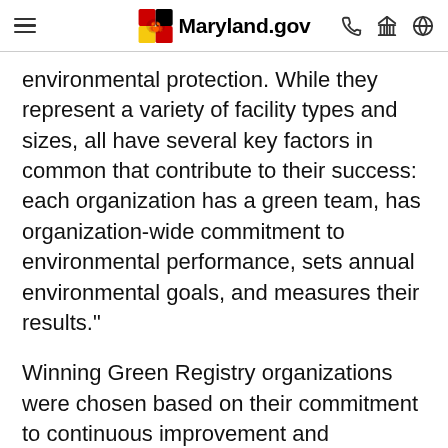Maryland.gov
environmental protection. While they represent a variety of facility types and sizes, all have several key factors in common that contribute to their success: each organization has a green team, has organization-wide commitment to environmental performance, sets annual environmental goals, and measures their results."
Winning Green Registry organizations were chosen based on their commitment to continuous improvement and environmental results achieved to date. Each of the winners completed a "Five Leaders.Five Questions" profile discussing the importance of these elements in their programs, posted online at: http://www.mde.state.md.us/marylandgreen/Pages/